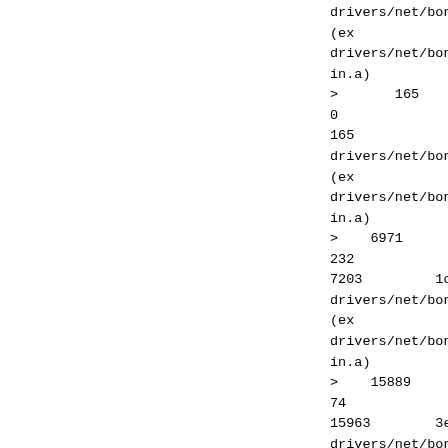drivers/net/bonding/b
(ex
drivers/net/bonding/b
in.a)
>       165
0               0
165             a5
drivers/net/bonding/b
(ex
drivers/net/bonding/b
in.a)
>    6971
232             0
7203         1c23
drivers/net/bonding/b
(ex
drivers/net/bonding/b
in.a)
>    15889
74              0
15963        3e5b
drivers/net/bonding/b
(ex
drivers/net/bonding/b
in.a)
>    4769
0               0
4769         12a1
drivers/net/bonding/b
(ex